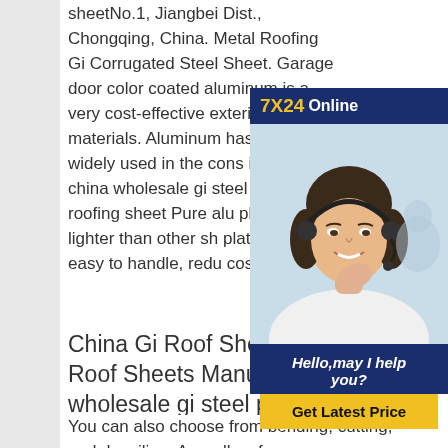sheetNo.1, Jiangbei Dist., Chongqing, China. Metal Roofing Gi Corrugated Steel Sheet. Garage door color coated aluminum is a very cost-effective exterior wall materials. Aluminum has been widely used in the cons industry. china wholesale gi steel corrugated roofing sheet Pure alu plate is 40% lighter than other sh plates and is easy to handle, redu costs;
[Figure (other): Chat widget with '7X24 Online' header in navy blue, photo of a woman with headset smiling, text 'Hello,may I help you?' and a yellow 'Get Latest Price' button]
China Gi Roof Sheets, China Gi Roof Sheets Manufacturers china wholesale gi steel plate corrugated roofing sheet
You can also choose from bending, cutting, and decoiling. As well as from